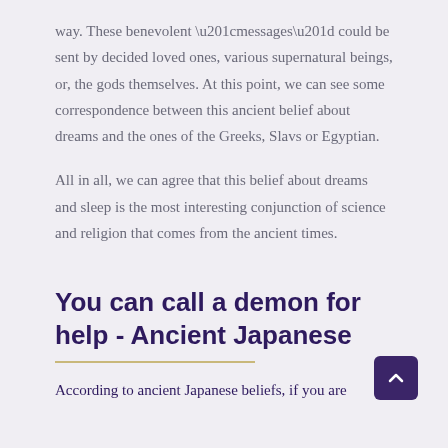way. These benevolent “messages” could be sent by decided loved ones, various supernatural beings, or, the gods themselves. At this point, we can see some correspondence between this ancient belief about dreams and the ones of the Greeks, Slavs or Egyptian.
All in all, we can agree that this belief about dreams and sleep is the most interesting conjunction of science and religion that comes from the ancient times.
You can call a demon for help - Ancient Japanese
According to ancient Japanese beliefs, if you are